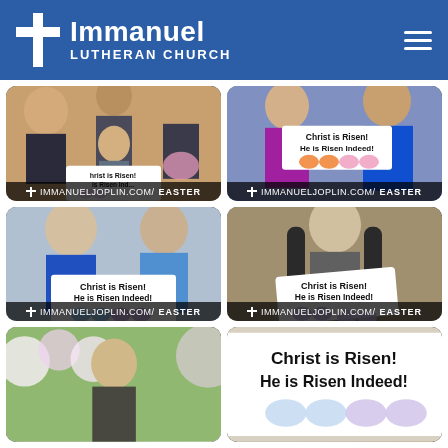[Figure (screenshot): Immanuel Lutheran Church website screenshot showing a header with logo and navigation, followed by a grid of 6 photos (partially visible bottom row) showing church members holding 'Christ is Risen! He is Risen Indeed!' signs with butterfly artwork for Easter]
Immanuel Lutheran Church — immanueljoplin.com/EASTER